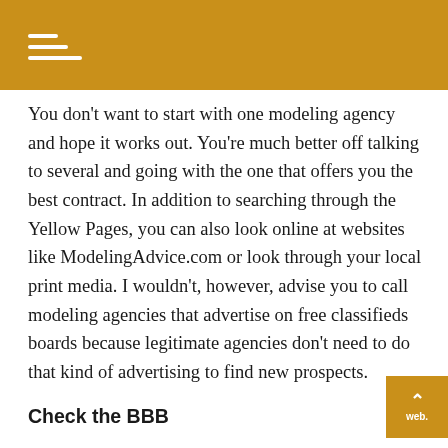You don't want to start with one modeling agency and hope it works out. You're much better off talking to several and going with the one that offers you the best contract. In addition to searching through the Yellow Pages, you can also look online at websites like ModelingAdvice.com or look through your local print media. I wouldn't, however, advise you to call modeling agencies that advertise on free classifieds boards because legitimate agencies don't need to do that kind of advertising to find new prospects.
Check the BBB
Your next step should be typing BBB.org into your web browser and checking on the reports for each of the